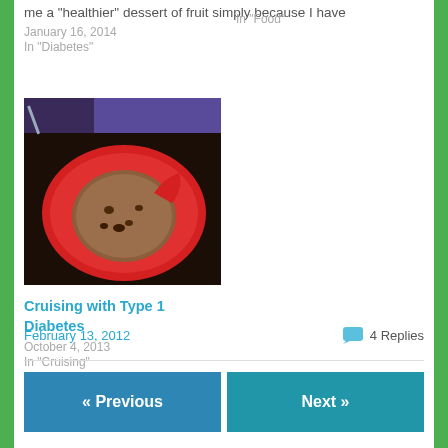me a "healthier" dessert of fruit simply because I have
January 16, 2014
In "Diabetes"
In "Food"
[Figure (photo): A cookie on a red plate, with a bite taken out, viewed from above on a dark table surface.]
Cruising with Type 1 Diabetes
October 4, 2013
In "Cruising"
February 13, 2012
4 Replies
« Previous
Next »